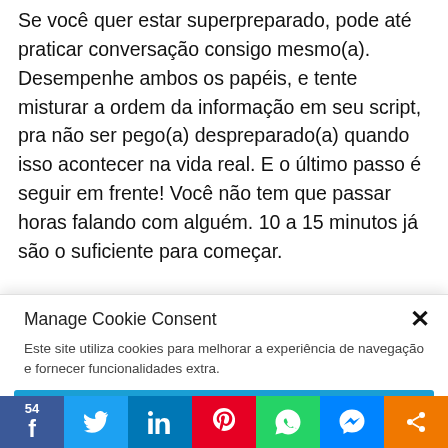Se você quer estar superpreparado, pode até praticar conversação consigo mesmo(a). Desempenhe ambos os papéis, e tente misturar a ordem da informação em seu script, pra não ser pego(a) despreparado(a) quando isso acontecer na vida real. E o último passo é seguir em frente! Você não tem que passar horas falando com alguém. 10 a 15 minutos já são o suficiente para começar.

Se você quiser, pode até começar com um tutor ou um parceiro linguístico, ao invés de
Manage Cookie Consent
Este site utiliza cookies para melhorar a experiência de navegação e fornecer funcionalidades extra.
Accept
54 | Facebook | Twitter | LinkedIn | Pinterest | WhatsApp | Messenger | Share